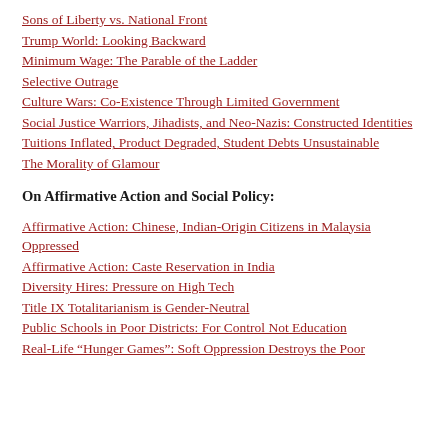Sons of Liberty vs. National Front
Trump World: Looking Backward
Minimum Wage: The Parable of the Ladder
Selective Outrage
Culture Wars: Co-Existence Through Limited Government
Social Justice Warriors, Jihadists, and Neo-Nazis: Constructed Identities
Tuitions Inflated, Product Degraded, Student Debts Unsustainable
The Morality of Glamour
On Affirmative Action and Social Policy:
Affirmative Action: Chinese, Indian-Origin Citizens in Malaysia Oppressed
Affirmative Action: Caste Reservation in India
Diversity Hires: Pressure on High Tech
Title IX Totalitarianism is Gender-Neutral
Public Schools in Poor Districts: For Control Not Education
Real-Life “Hunger Games”: Soft Oppression Destroys the Poor